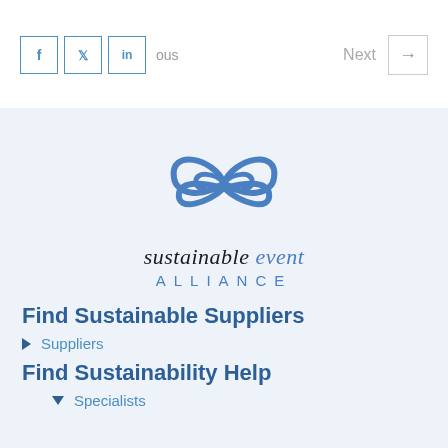[Figure (logo): Social media icons: Facebook (f), Twitter (bird), LinkedIn (in) in blue outlined boxes]
Next →
[Figure (logo): Sustainable Event Alliance logo: blue butterfly/ribbon SVG mark above handwritten 'sustainable event' and spaced 'ALLIANCE' text in blue]
Find Sustainable Suppliers
► Suppliers
Find Sustainability Help
▼ Specialists